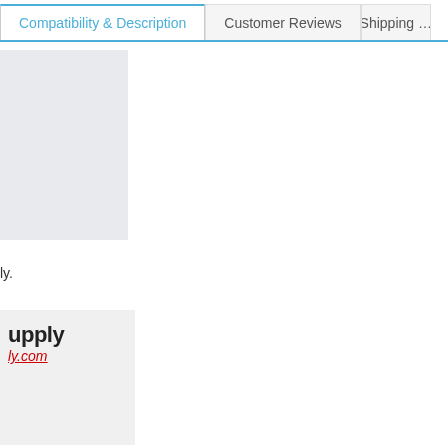Compatibility & Description | Customer Reviews | Shipping
[Figure (screenshot): Light blue/gray placeholder image block on the left side of the page]
ly.
[Figure (logo): Logo block showing 'upply' in bold black text and 'ly.com' in red italic underlined text on a light gray background]